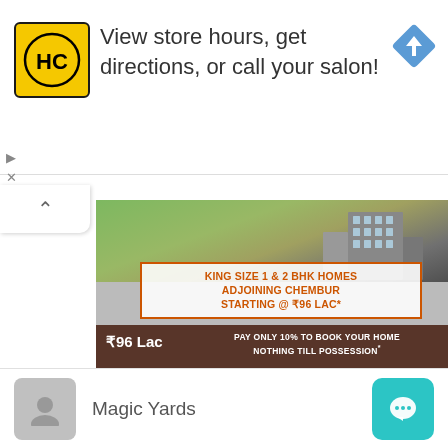[Figure (screenshot): Ad banner for HC salon: yellow square logo with HC text, ad text 'View store hours, get directions, or call your salon!', blue diamond navigation icon on right]
[Figure (screenshot): Real estate advertisement card for MJ Shah Centrio showing building illustration, text 'KING SIZE 1 & 2 BHK HOMES ADJOINING CHEMBUR STARTING @ ₹96 LAC*', price ₹96 Lac, pay only 10% to book, address MJ Shah Centrio, PL Lokhande Marg, Gautam Nagar, G...]
[Figure (screenshot): Pagination dots row: 5 dots, first one darker/active]
Magic Yards